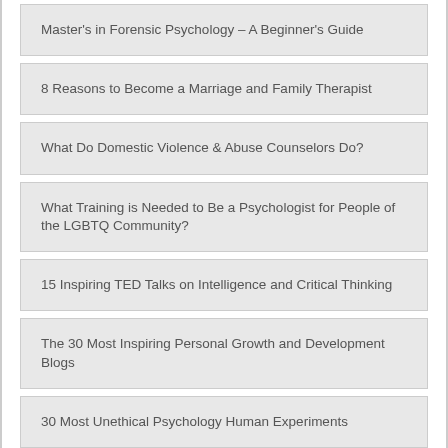Master's in Forensic Psychology – A Beginner's Guide
8 Reasons to Become a Marriage and Family Therapist
What Do Domestic Violence & Abuse Counselors Do?
What Training is Needed to Be a Psychologist for People of the LGBTQ Community?
15 Inspiring TED Talks on Intelligence and Critical Thinking
The 30 Most Inspiring Personal Growth and Development Blogs
30 Most Unethical Psychology Human Experiments
30 Most Prominent Psychologists on Twitter